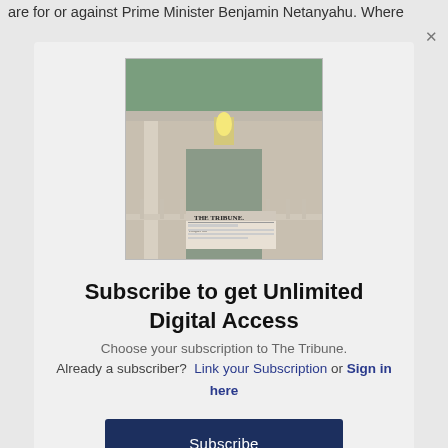are for or against Prime Minister Benjamin Netanyahu. Where
[Figure (photo): A newspaper called The Tribune on a porch or doorstep, with a house facade in the background.]
Subscribe to get Unlimited Digital Access
Choose your subscription to The Tribune.
Already a subscriber?  Link your Subscription or Sign in here
Subscribe